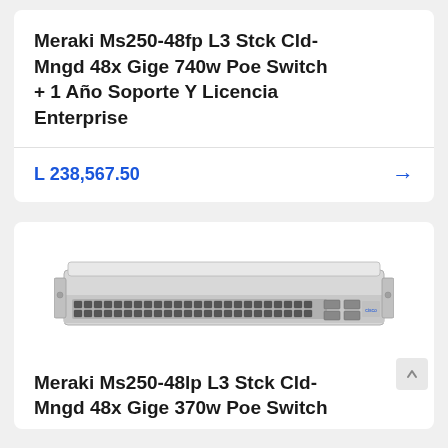Meraki Ms250-48fp L3 Stck Cld-Mngd 48x Gige 740w Poe Switch + 1 Año Soporte Y Licencia Enterprise
L 238,567.50
[Figure (photo): Cisco Meraki MS250-48lp network switch, 1U rack unit, silver/grey, front panel showing 48 ethernet ports and 4 SFP uplink ports]
Meraki Ms250-48lp L3 Stck Cld-Mngd 48x Gige 370w Poe Switch